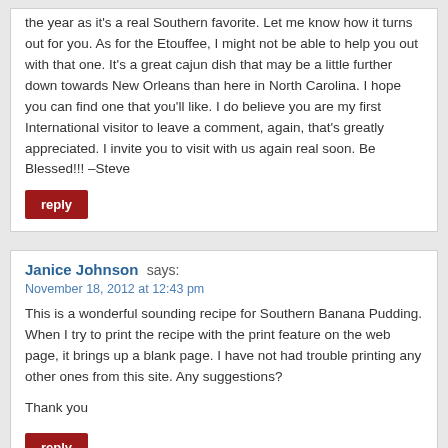the year as it's a real Southern favorite. Let me know how it turns out for you. As for the Etouffee, I might not be able to help you out with that one. It's a great cajun dish that may be a little further down towards New Orleans than here in North Carolina. I hope you can find one that you'll like. I do believe you are my first International visitor to leave a comment, again, that's greatly appreciated. I invite you to visit with us again real soon. Be Blessed!!! –Steve
reply
Janice Johnson says:
November 18, 2012 at 12:43 pm
This is a wonderful sounding recipe for Southern Banana Pudding. When I try to print the recipe with the print feature on the web page, it brings up a blank page. I have not had trouble printing any other ones from this site. Any suggestions?
Thank you
reply